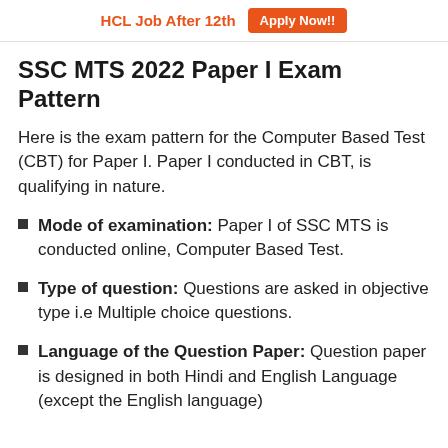HCL Job After 12th   Apply Now!!
SSC MTS 2022 Paper I Exam Pattern
Here is the exam pattern for the Computer Based Test (CBT) for Paper I. Paper I conducted in CBT, is qualifying in nature.
Mode of examination: Paper I of SSC MTS is conducted online, Computer Based Test.
Type of question: Questions are asked in objective type i.e Multiple choice questions.
Language of the Question Paper: Question paper is designed in both Hindi and English Language (except the English language).